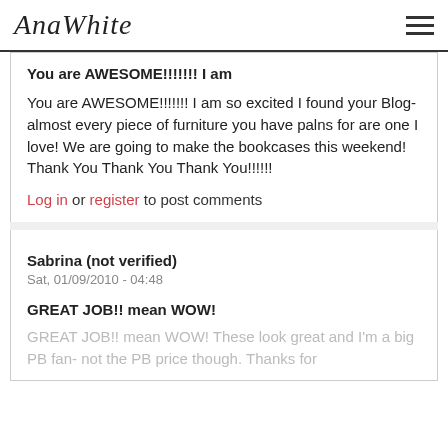AnaWhite
You are AWESOME!!!!!!! I am
You are AWESOME!!!!!!! I am so excited I found your Blog- almost every piece of furniture you have palns for are one I love! We are going to make the bookcases this weekend! Thank You Thank You Thank You!!!!!!
Log in or register to post comments
Sabrina (not verified)
Sat, 01/09/2010 - 04:48
GREAT JOB!! mean WOW!
GREAT JOB!! mean WOW! These look great and I'm a big PB fan- not the PB price though. Thanks for